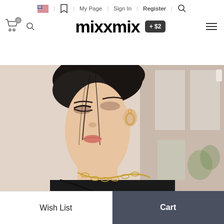mixxmix | My Page | Sign In | Register | Wish List | Cart
[Figure (photo): Close-up portrait of a young woman with dark hair up, wearing gold chain link necklace and small hoop earrings, looking downward, soft background of windows and plants]
Wish List
Cart